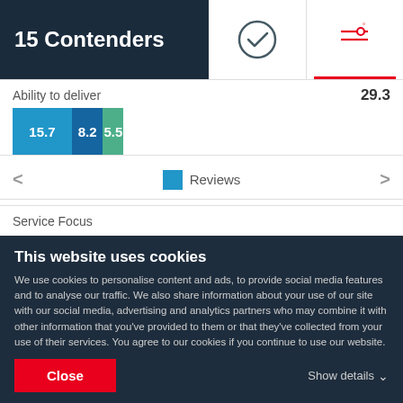15 Contenders
[Figure (infographic): Checkmark icon in circle]
[Figure (infographic): Adjust/settings icon with red underline indicator]
Ability to deliver 29.3
[Figure (stacked-bar-chart): Ability to deliver]
Reviews
Service Focus
[Figure (bar-chart): Service Focus]
This website uses cookies
We use cookies to personalise content and ads, to provide social media features and to analyse our traffic. We also share information about your use of our site with our social media, advertising and analytics partners who may combine it with other information that you've provided to them or that they've collected from your use of their services. You agree to our cookies if you continue to use our website.
Close
Show details